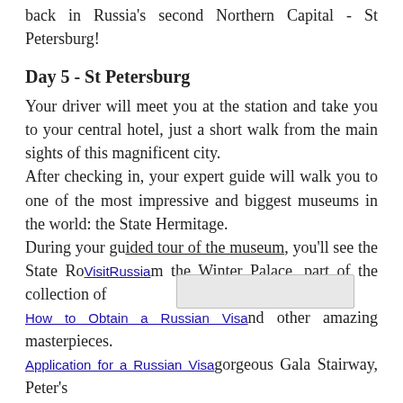back in Russia's second Northern Capital - St Petersburg!
Day 5 - St Petersburg
Your driver will meet you at the station and take you to your central hotel, just a short walk from the main sights of this magnificent city.
After checking in, your expert guide will walk you to one of the most impressive and biggest museums in the world: the State Hermitage.
During your guided tour of the museum, you'll see the State Rooms, the Winter Palace, part of the collection of Rembrandt and other amazing masterpieces.
You'll see the gorgeous Gala Stairway, Peter's Throne Room, Armorial Hall, the Pavilion Hall and the Dutch room with numerous delicate portraits.
You'll have the opportunity to immerse yourself in St Petersburg's most precious artwork.
The rest of the day is free to amble along the central streets of St Petersburg and have dinner in one of the numerous
Visit Russia
How to Obtain a Russian Visa
Application for a Russian Visa
Visa Support/Invitation
Book a PCR test for Russia
Russian Visa Travel Insurance
Visa free regime countries
Apply for a Visa
About Russian Visas